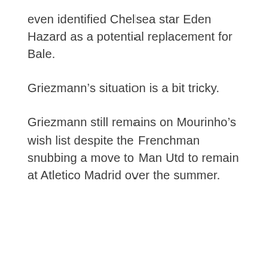even identified Chelsea star Eden Hazard as a potential replacement for Bale.
Griezmann's situation is a bit tricky.
Griezmann still remains on Mourinho's wish list despite the Frenchman snubbing a move to Man Utd to remain at Atletico Madrid over the summer.